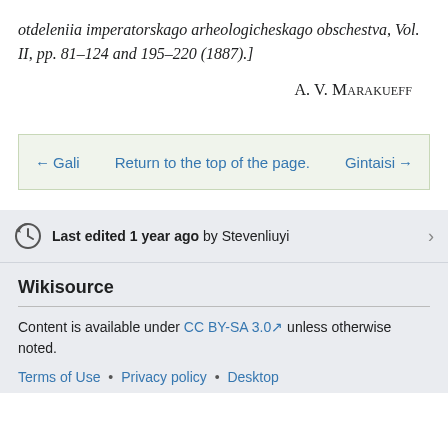otdeleniia imperatorskago arheologicheskago obschestva, Vol. II, pp. 81–124 and 195–220 (1887).]
A. V. Marakueff
← Gali   Return to the top of the page.   Gintaisi →
Last edited 1 year ago by Stevenliuyi
Wikisource
Content is available under CC BY-SA 3.0 unless otherwise noted.
Terms of Use • Privacy policy • Desktop